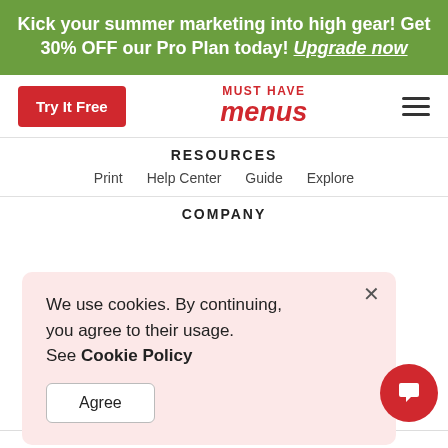Kick your summer marketing into high gear! Get 30% OFF our Pro Plan today! Upgrade now
[Figure (logo): Must Have Menus logo with 'Try It Free' red button and hamburger menu icon]
RESOURCES
Print   Help Center   Guide   Explore
COMPANY
We use cookies. By continuing, you agree to their usage. See Cookie Policy
Agree
© QR Code is a registered trademark of Denso Wave Incorporated